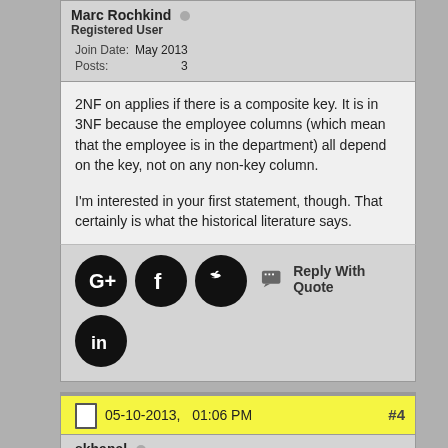Marc Rochkind — Registered User
Join Date: May 2013
Posts: 3
2NF on applies if there is a composite key. It is in 3NF because the employee columns (which mean that the employee is in the department) all depend on the key, not on any non-key column.

I'm interested in your first statement, though. That certainly is what the historical literature says.
Reply With Quote
05-10-2013,   01:06 PM  #4
skhanal — Experts
Join Date: Nov 2002
Location: New Jersey, USA
Posts: 3,932
If you are not considering Employee as an entity